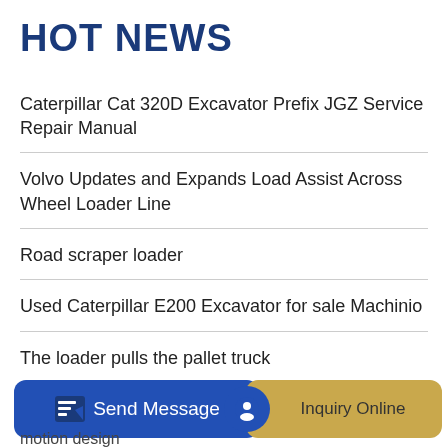HOT NEWS
Caterpillar Cat 320D Excavator Prefix JGZ Service Repair Manual
Volvo Updates and Expands Load Assist Across Wheel Loader Line
Road scraper loader
Used Caterpillar E200 Excavator for sale Machinio
The loader pulls the pallet truck
Homemade excavator - Fodere - YouTube
notic
motion design